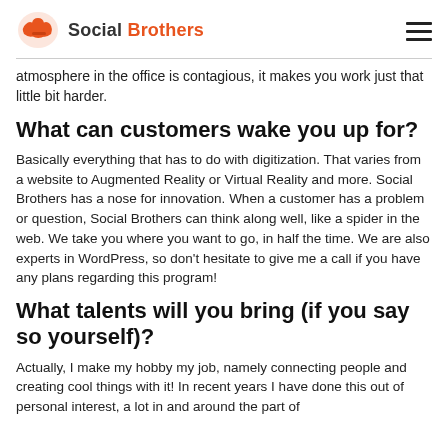Social Brothers
atmosphere in the office is contagious, it makes you work just that little bit harder.
What can customers wake you up for?
Basically everything that has to do with digitization. That varies from a website to Augmented Reality or Virtual Reality and more. Social Brothers has a nose for innovation. When a customer has a problem or question, Social Brothers can think along well, like a spider in the web. We take you where you want to go, in half the time. We are also experts in WordPress, so don't hesitate to give me a call if you have any plans regarding this program!
What talents will you bring (if you say so yourself)?
Actually, I make my hobby my job, namely connecting people and creating cool things with it! In recent years I have done this out of personal interest, a lot in and around the part of